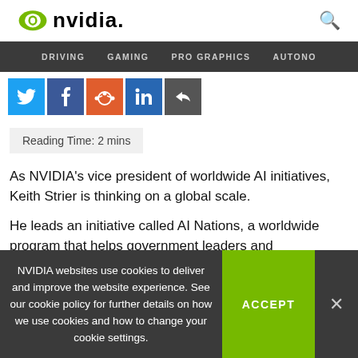NVIDIA.
[Figure (screenshot): NVIDIA website navigation bar with links: DRIVING, GAMING, PRO GRAPHICS, AUTONO]
[Figure (screenshot): Social sharing buttons: Twitter (blue), Facebook (dark blue), Reddit (orange), LinkedIn (blue), Share (dark)]
Reading Time: 2 mins
As NVIDIA's vice president of worldwide AI initiatives, Keith Strier is thinking on a global scale.
He leads an initiative called AI Nations, a worldwide program that helps government leaders and
NVIDIA websites use cookies to deliver and improve the website experience. See our cookie policy for further details on how we use cookies and how to change your cookie settings.
ACCEPT